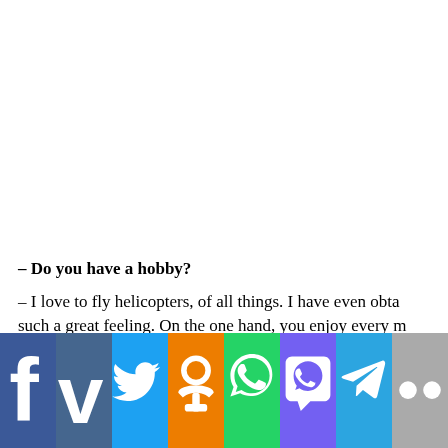– Do you have a hobby?
– I love to fly helicopters, of all things. I have even obta such a great feeling. On the one hand, you enjoy every m Switzerland is so beautiful from the air.
[Figure (infographic): Social media sharing bar with icons: Facebook (blue), VKontakte (steel blue), Twitter (light blue), Odnoklassniki (orange), WhatsApp (green), Viber (purple), Telegram (blue), and a grey more/Flickr icon.]